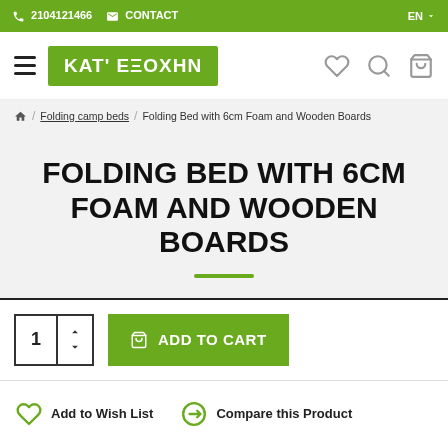2104121466  CONTACT  EN
[Figure (logo): KAT' ΕΞΟΧΗΝ green logo]
Home / Folding camp beds / Folding Bed with 6cm Foam and Wooden Boards
FOLDING BED WITH 6CM FOAM AND WOODEN BOARDS
1  ADD TO CART
Add to Wish List  Compare this Product